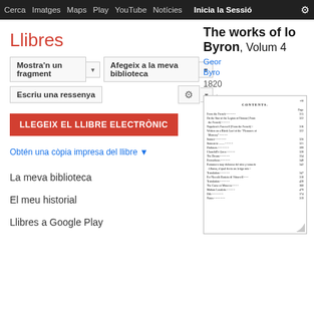Cerca  Imatges  Maps  Play  YouTube  Notícies  Inicia la Sessió  ⚙
Llibres
Mostra'n un fragment ▾   Afegeix a la meva biblioteca ▾
Escriu una ressenya   ⚙ ▾
LLEGEIX EL LLIBRE ELECTRÒNIC
The works of lord Byron, Volum 4
Obtén una còpia impresa del llibre ▼
[Figure (illustration): Scanned table of contents page from a Byron works book]
George Gordon Byron
1820
★★
0 Ressenyes
La meva biblioteca
El meu historial
Llibres a Google Play